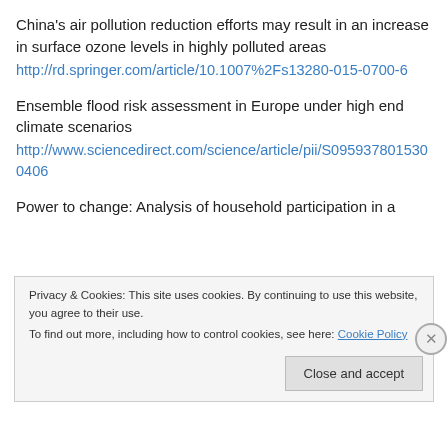China's air pollution reduction efforts may result in an increase in surface ozone levels in highly polluted areas
http://rd.springer.com/article/10.1007%2Fs13280-015-0700-6
Ensemble flood risk assessment in Europe under high end climate scenarios
http://www.sciencedirect.com/science/article/pii/S0959378015300406
Power to change: Analysis of household participation in a
Privacy & Cookies: This site uses cookies. By continuing to use this website, you agree to their use.
To find out more, including how to control cookies, see here: Cookie Policy
Close and accept